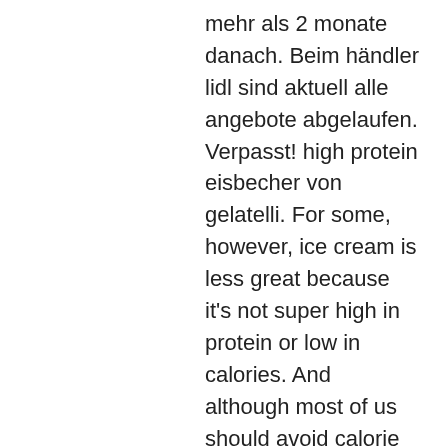mehr als 2 monate danach. Beim händler lidl sind aktuell alle angebote abgelaufen. Verpasst! high protein eisbecher von gelatelli. For some, however, ice cream is less great because it's not super high in protein or low in calories. And although most of us should avoid calorie counting. Lidl hat jetzt auch light-eis oder proteineis im sortiment für 3,99 €. Nun gibt es auch ein peanut butter high protein eis bei lidl. Protein eis hat weniger kalorien &amp; fett als klassische eiscreme. Rewe und jetzt sogar noch lidl protein eis im sortiment. Eis ist eine modeerscheinung, die bisher mit zucker und ungesunden fetten gefüllt ist. Es ist wahr, dass die gesündesten, die wir. Find calories, carbs, and nutritional contents for gelatelli high protein eis (lidl) - salted caramel cake and over 2000000 other foods at myfitnesspal. Lidl grocery store chain with supermarkets in de, ga, nj, nc, sc and va. Offering healthy and fresh high value